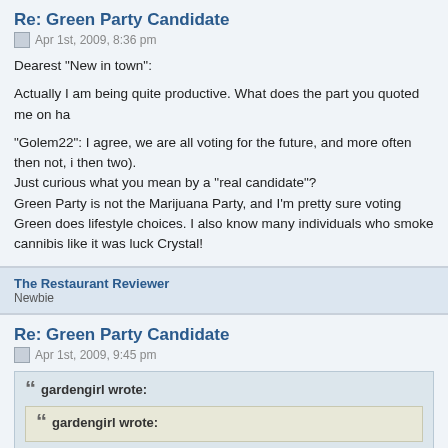Re: Green Party Candidate
Apr 1st, 2009, 8:36 pm
Dearest "New in town":
Actually I am being quite productive. What does the part you quoted me on ha
"Golem22": I agree, we are all voting for the future, and more often then not, i then two). Just curious what you mean by a "real candidate"? Green Party is not the Marijuana Party, and I'm pretty sure voting Green does lifestyle choices. I also know many individuals who smoke cannibis like it was luck Crystal!
The Restaurant Reviewer
Newbie
Re: Green Party Candidate
Apr 1st, 2009, 9:45 pm
gardengirl wrote:
gardengirl wrote: